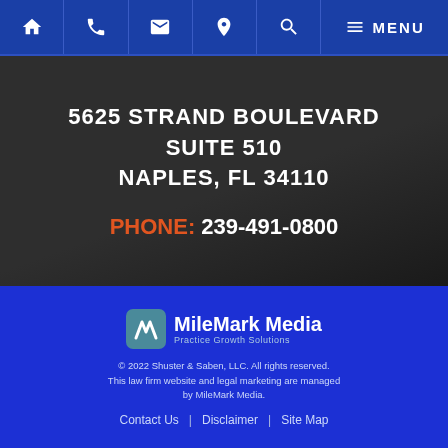Navigation bar with icons: home, phone, email, location, search, menu / MENU
5625 STRAND BOULEVARD
SUITE 510
NAPLES, FL 34110

PHONE: 239-491-0800
[Figure (logo): MileMark Media logo with stylized M icon and tagline 'Practice Growth Solutions']
© 2022 Shuster & Saben, LLC. All rights reserved.
This law firm website and legal marketing are managed by MileMark Media.
Contact Us  |  Disclaimer  |  Site Map